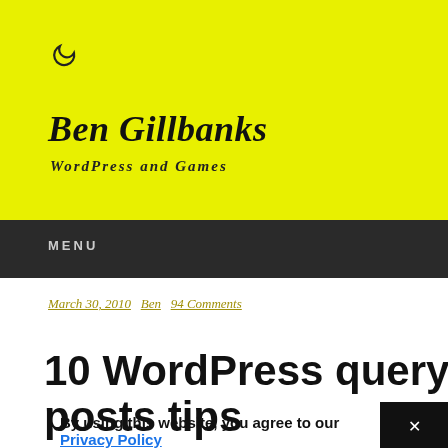[Figure (other): Moon/crescent icon on yellow background]
Ben Gillbanks
WordPress and Games
MENU
March 30, 2010  Ben  94 Comments
10 WordPress query  posts tips
By using this website, you agree to our Privacy Policy